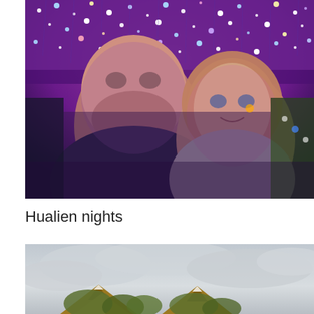[Figure (photo): A couple taking a selfie at night under a colorful canopy of purple and blue string lights. The man on the left is bald with a beard wearing a dark hoodie. The woman on the right has shoulder-length hair and is wearing a grey jacket. The background shows a festive outdoor night scene with many hanging lights.]
Hualien nights
[Figure (photo): A partially visible photo showing a temple or traditional Asian building with ornate rooftops visible at the bottom, under a grey overcast sky.]